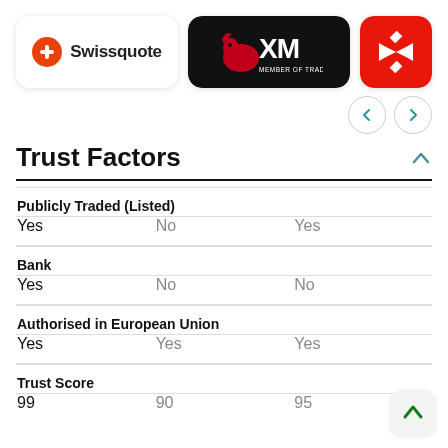[Figure (logo): Swissquote broker logo card]
[Figure (logo): XM broker logo card — black background with red bull and white XM lettering, MEMBER OF TRADING POINT GROUP]
[Figure (logo): Third broker logo card — red background with white X arrow icon]
Trust Factors
|  | Col1 | Col2 | Col3 |
| --- | --- | --- | --- |
| Publicly Traded (Listed) |  |  |  |
| Yes | No | Yes |  |
| Bank |  |  |  |
| Yes | No | No |  |
| Authorised in European Union |  |  |  |
| Yes | Yes | Yes |  |
| Trust Score |  |  |  |
| 99 | 90 | 95 |  |